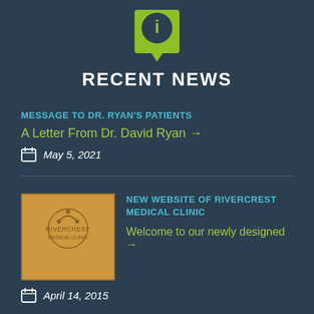[Figure (illustration): Green info icon badge with a circle containing the letter i, squared speech-bubble style shape]
RECENT NEWS
MESSAGE TO DR. RYAN'S PATIENTS
A Letter From Dr. David Ryan →
May 5, 2021
[Figure (photo): Thumbnail photo of Rivercrest Medical Clinic logo on golden/yellow background]
NEW WEBSITE OF RIVERCREST MEDICAL CLINIC
Welcome to our newly designed →
April 14, 2015
[Figure (illustration): Partial green icon visible at bottom of page]